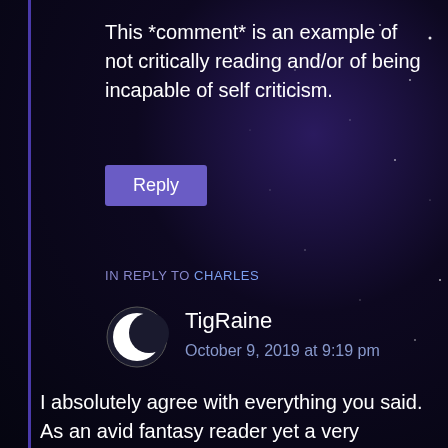This *comment* is an example of not critically reading and/or of being incapable of self criticism.
Reply
IN REPLY TO CHARLES
[Figure (illustration): Crescent moon avatar icon in black and white]
TigRaine
October 9, 2019 at 9:19 pm
I absolutely agree with everything you said. As an avid fantasy reader yet a very independent woman, I was always frustrated with the tropes of fantasy women over the years. Then